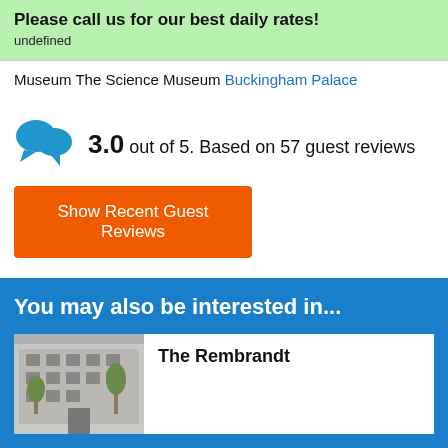Please call us for our best daily rates!
undefined
Museum The Science Museum Buckingham Palace
3.0 out of 5. Based on 57 guest reviews
Show Recent Guest Reviews
You may also be interested in...
The Rembrandt